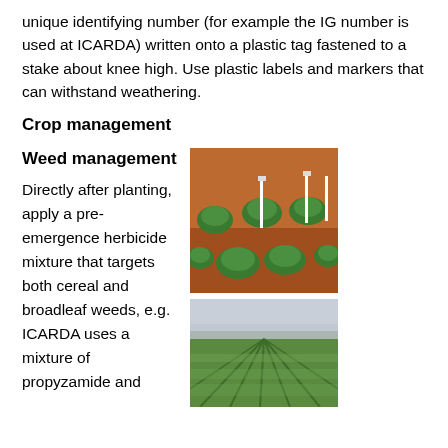unique identifying number (for example the IG number is used at ICARDA) written onto a plastic tag fastened to a stake about knee high. Use plastic labels and markers that can withstand weathering.
Crop management
Weed management
Directly after planting, apply a pre-emergence herbicide mixture that targets both cereal and broadleaf weeds, e.g. ICARDA uses a mixture of propyzamide and
[Figure (photo): Chickpea plants growing in reddish-brown soil with white identification stakes/labels in the ground between the plants.]
[Figure (photo): Wide field of green chickpea crop growing in rows, viewed from ground level with a flat agricultural landscape and hazy sky in the background.]